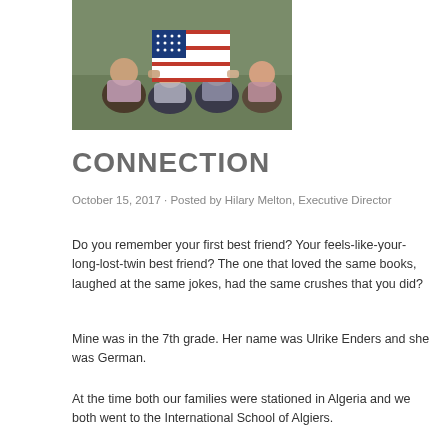[Figure (photo): Children sitting on grass holding an American flag drawing or painting]
CONNECTION
October 15, 2017 · Posted by Hilary Melton, Executive Director
Do you remember your first best friend? Your feels-like-your-long-lost-twin best friend? The one that loved the same books, laughed at the same jokes, had the same crushes that you did?
Mine was in the 7th grade. Her name was Ulrike Enders and she was German.
At the time both our families were stationed in Algeria and we both went to the International School of Algiers.